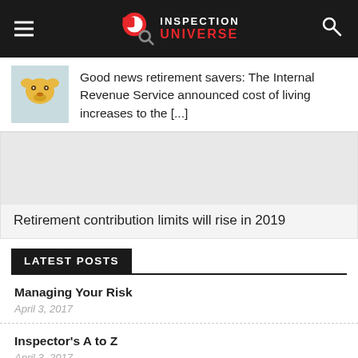Inspection Universe
Good news retirement savers: The Internal Revenue Service announced cost of living increases to the [...]
Retirement contribution limits will rise in 2019
LATEST POSTS
Managing Your Risk
April 3, 2017
Inspector's A to Z
April 3, 2017
Mold Testing Packs for Home Inspectors